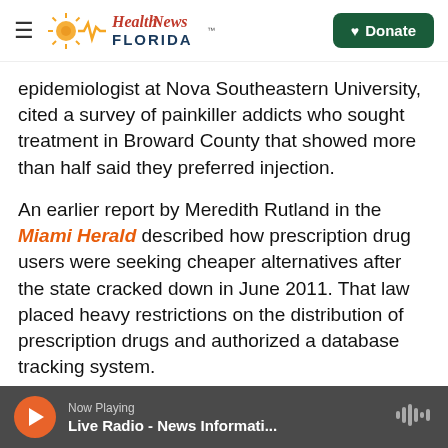Health News Florida — Donate
epidemiologist at Nova Southeastern University, cited a survey of painkiller addicts who sought treatment in Broward County that showed more than half said they preferred injection.
An earlier report by Meredith Rutland in the Miami Herald described how prescription drug users were seeking cheaper alternatives after the state cracked down in June 2011. That law placed heavy restrictions on the distribution of prescription drugs and authorized a database tracking system.
The crackdown lowered the number of pill mills
Now Playing — Live Radio - News Informati...